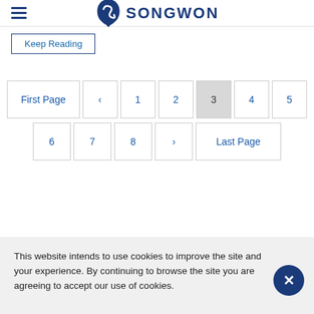SONGWON
Keep Reading
First Page  ‹  1  2  3  4  5  6  7  8  ›  Last Page
This website intends to use cookies to improve the site and your experience. By continuing to browse the site you are agreeing to accept our use of cookies.